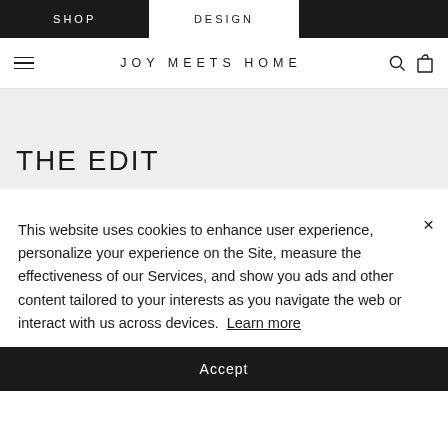SHOP | DESIGN
JOY MEETS HOME
THE EDIT
The Edit by Joy Meets Home service is designed for people who want to refresh their spaces but not go through a full renovation. You know there's something you can do to make your home feel new again but you're needing that expert eye to see it through and that's how we can help.
This website uses cookies to enhance user experience, personalize your experience on the Site, measure the effectiveness of our Services, and show you ads and other content tailored to your interests as you navigate the web or interact with us across devices. Learn more
Accept
This service is for minimal construction designs (paint, wall features, wallpaper ,etc.) and includes furniture sourcing. 2 rounds of revisions for design boards and space planning. * Install available at hourly rate. This service is